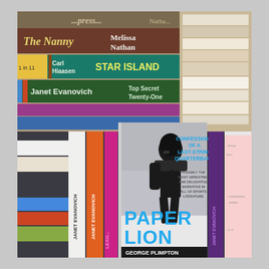[Figure (photo): Photograph of a stack of books including 'The Nanny' by Melissa Nathan, 'Star Island' by Carl Hiaasen, 'Top Secret Twenty-One' by Janet Evanovich, and in the foreground the book 'Paper Lion: Confessions of a Last-String Quarterback' by George Plimpton, displayed among other books.]